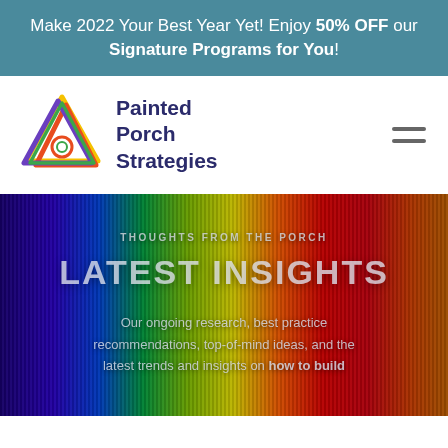Make 2022 Your Best Year Yet! Enjoy 50% OFF our Signature Programs for You!
[Figure (logo): Painted Porch Strategies logo — colorful interlocking triangles with the letters PPS, beside the text 'Painted Porch Strategies' in dark blue]
[Figure (photo): Colorful painted wooden surface with rainbow streaks from blue/purple on left to red/orange on right, used as hero background]
THOUGHTS FROM THE PORCH
LATEST INSIGHTS
Our ongoing research, best practice recommendations, top-of-mind ideas, and the latest trends and insights on how to build